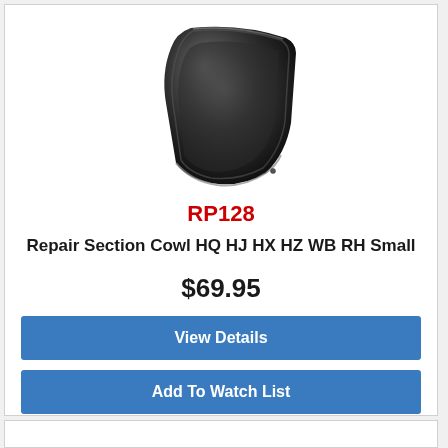[Figure (photo): Automotive repair section cowl panel, dark grey/black stamped metal part with curved shape]
RP128
Repair Section Cowl HQ HJ HX HZ WB RH Small
$69.95
View Details
Add To Watch List